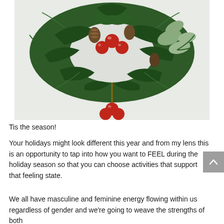[Figure (photo): A holiday Christmas wreath made of green pine branches, pinecones, eucalyptus leaves, and red ornament balls hanging on a white background.]
Tis the season!
Your holidays might look different this year and from my lens this is an opportunity to tap into how you want to FEEL during the holiday season so that you can choose activities that support that feeling state.
We all have masculine and feminine energy flowing within us regardless of gender and we're going to weave the strengths of both